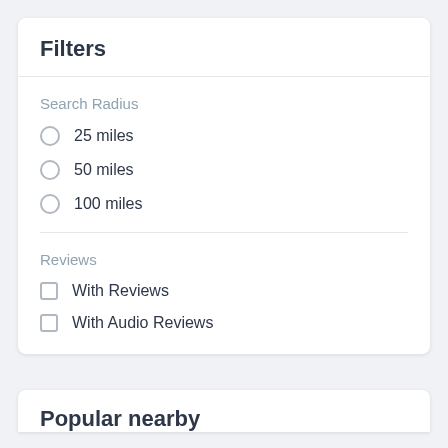Filters
Search Radius
25 miles
50 miles
100 miles
Reviews
With Reviews
With Audio Reviews
Popular nearby